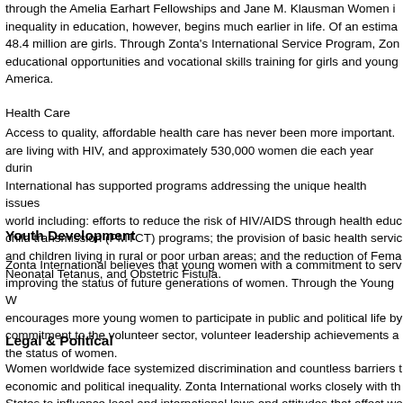through the Amelia Earhart Fellowships and Jane M. Klausman Women i... inequality in education, however, begins much earlier in life. Of an estima... 48.4 million are girls. Through Zonta's International Service Program, Zon... educational opportunities and vocational skills training for girls and young... America.
Health Care
Access to quality, affordable health care has never been more important. ... are living with HIV, and approximately 530,000 women die each year durin... International has supported programs addressing the unique health issues... world including: efforts to reduce the risk of HIV/AIDS through health educ... child transmission (PMTCT) programs; the provision of basic health servic... and children living in rural or poor urban areas; and the reduction of Fema... Neonatal Tetanus, and Obstetric Fistula.
Youth Development
Zonta International believes that young women with a commitment to serv... improving the status of future generations of women. Through the Young W... encourages more young women to participate in public and political life by... commitment to the volunteer sector, volunteer leadership achievements a... the status of women.
Legal & Political
Women worldwide face systemized discrimination and countless barriers t... economic and political inequality. Zonta International works closely with th... States to influence local and international laws and attitudes that affect wo... districts and clubs advocate at all levels for laws and policies that appropr... inequality.